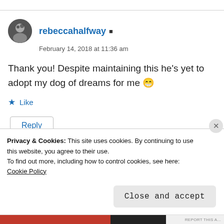rebeccahalfway
February 14, 2018 at 11:36 am
Thank you! Despite maintaining this he’s yet to adopt my dog of dreams for me 😄
Like
Reply
Privacy & Cookies: This site uses cookies. By continuing to use this website, you agree to their use.
To find out more, including how to control cookies, see here: Cookie Policy
Close and accept